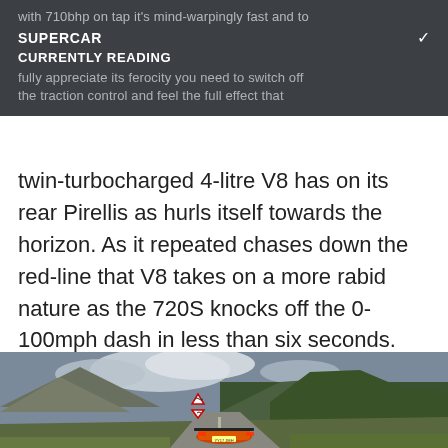with 710bhp on tap it's mind-warpingly fast and to fully appreciate its ferocity you need to switch off the traction control and feel the full effect that
SUPERCAR
CURRENTLY READING
twin-turbocharged 4-litre V8 has on its rear Pirellis as hurls itself towards the horizon. As it repeated chases down the red-line that V8 takes on a more rabid nature as the 720S knocks off the 0-100mph dash in less than six seconds.
[Figure (photo): Rear view of an orange McLaren 720S supercar driving on a winding Scottish highland road, with mountains, forest, and road signs visible in the background]